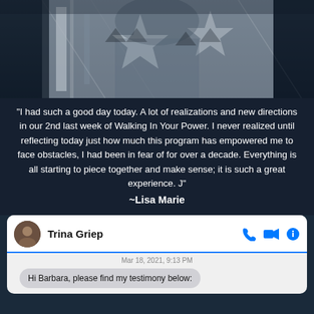[Figure (photo): Close-up photo of a person wearing a patterned/Aztec style sweater or blanket wrap, dark blue background]
“I had such a good day today. A lot of realizations and new directions in our 2nd last week of Walking In Your Power. I never realized until reflecting today just how much this program has empowered me to face obstacles, I had been in fear of for over a decade. Everything is all starting to piece together and make sense; it is such a great experience. J”
~Lisa Marie
[Figure (screenshot): Screenshot of a messaging app conversation with Trina Griep. Shows a message bubble: 'Hi Barbara, please find my testimony below:' dated Mar 18, 2021, 9:13 PM.]